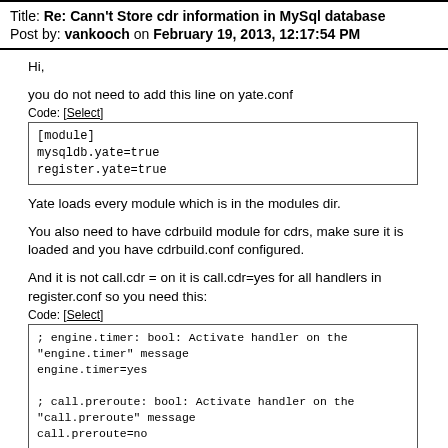Title: Re: Cann't Store cdr information in MySql database
Post by: vankooch on February 19, 2013, 12:17:54 PM
Hi,
you do not need to add this line on yate.conf
Code: [Select]
[module]
mysqldb.yate=true
register.yate=true
Yate loads every module which is in the modules dir.
You also need to have cdrbuild module for cdrs, make sure it is loaded and you have cdrbuild.conf configured.
And it is not call.cdr = on it is call.cdr=yes for all handlers in register.conf so you need this:
Code: [Select]
; engine.timer: bool: Activate handler on the
"engine.timer" message
engine.timer=yes

; call.preroute: bool: Activate handler on the
"call.preroute" message
call.preroute=no

; call.route: bool: Activate handler on the "call.route"
message
call.route=no